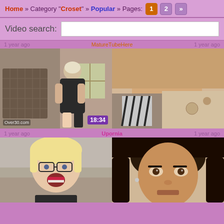Home » Category "Croset" » Popular » Pages: 1 2 »
Video search:
1 year ago   MatureTubeHere   1 year ago
[Figure (photo): Video thumbnail showing woman by fireplace, duration 18:34, watermark Over30.com]
[Figure (photo): Video thumbnail partial view]
1 year ago   Upornia   1 year ago
[Figure (photo): Video thumbnail showing blonde woman with glasses]
[Figure (photo): Video thumbnail showing woman close-up]